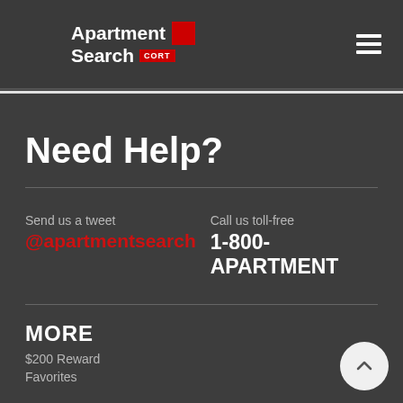[Figure (logo): Apartment Search CORT logo — white bold text on dark background with red square accent and CORT badge]
Need Help?
Send us a tweet
@apartmentsearch
Call us toll-free
1-800-APARTMENT
MORE
$200 Reward
Favorites